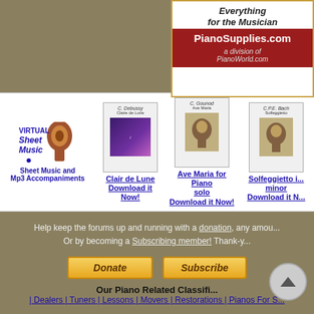[Figure (advertisement): PianoSupplies.com advertisement - 'Everything for the Musician', a division of PianoWorld.com]
[Figure (advertisement): Virtual Sheet Music - Sheet Music and Mp3 Accompaniments logo]
[Figure (illustration): Sheet music cover for Clair de Lune]
Clair de Lune Download it Now!
[Figure (illustration): Sheet music cover for Ave Maria for Piano solo]
Ave Maria for Piano solo Download it Now!
[Figure (illustration): Sheet music cover for Solfeggietto in minor]
Solfeggietto in minor Download it Now!
Help keep the forums up and running with a donation, any amount helps! Or by becoming a Subscribing member! Thank-you!
[Figure (other): Donate button (PayPal style)]
[Figure (other): Subscribe button (PayPal style)]
Our Piano Related Classifieds
| Dealers | Tuners | Lessons | Movers | Restorations | Pianos For S...